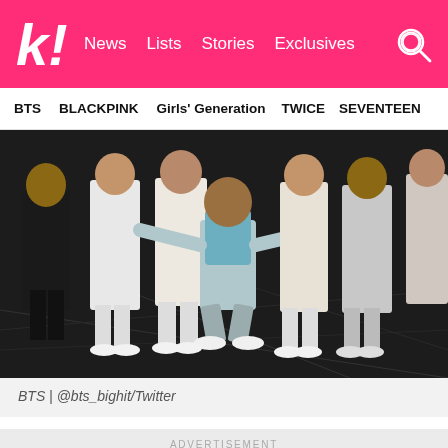k! News Lists Stories Exclusives
BTS  BLACKPINK  Girls' Generation  TWICE  SEVENTEEN
[Figure (photo): BTS group photo showing members posing on a dark reflective floor, wearing light-colored suits and white shoes. One member in the center crouches with arms spread wide, wearing a teal shirt and gray jacket.]
BTS | @bts_bighit/Twitter
ADVERTISEMENT